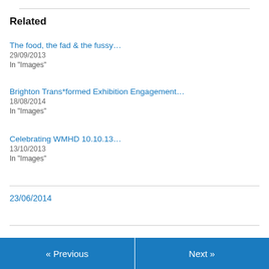Related
The food, the fad & the fussy…
29/09/2013
In "Images"
Brighton Trans*formed Exhibition Engagement…
18/08/2014
In "Images"
Celebrating WMHD 10.10.13…
13/10/2013
In "Images"
23/06/2014
« Previous   Next »